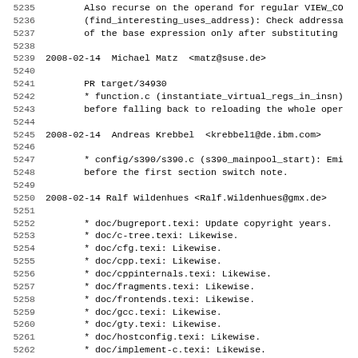5235   Also recurse on the operand for regular VIEW_CO
5236   (find_interesting_uses_address): Check addressa
5237   of the base expression only after substituting
5238
5239 2008-02-14  Michael Matz  <matz@suse.de>
5240
5241      PR target/34930
5242      * function.c (instantiate_virtual_regs_in_insn)
5243      before falling back to reloading the whole oper
5244
5245 2008-02-14  Andreas Krebbel  <krebbel1@de.ibm.com>
5246
5247      * config/s390/s390.c (s390_mainpool_start): Emi
5248      before the first section switch note.
5249
5250 2008-02-14 Ralf Wildenhues <Ralf.Wildenhues@gmx.de>
5251
5252      * doc/bugreport.texi: Update copyright years.
5253      * doc/c-tree.texi: Likewise.
5254      * doc/cfg.texi: Likewise.
5255      * doc/cpp.texi: Likewise.
5256      * doc/cppinternals.texi: Likewise.
5257      * doc/fragments.texi: Likewise.
5258      * doc/frontends.texi: Likewise.
5259      * doc/gcc.texi: Likewise.
5260      * doc/gty.texi: Likewise.
5261      * doc/hostconfig.texi: Likewise.
5262      * doc/implement-c.texi: Likewise.
5263      * doc/libgcc.texi: Likewise.
5264      * doc/loop.texi: Likewise.
5265      * doc/makefile.texi: Likewise.
5266      * doc/options.texi: Likewise.